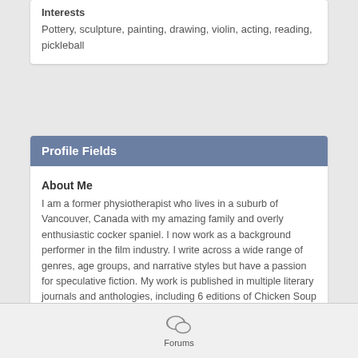Interests
Pottery, sculpture, painting, drawing, violin, acting, reading, pickleball
Profile Fields
About Me
I am a former physiotherapist who lives in a suburb of Vancouver, Canada with my amazing family and overly enthusiastic cocker spaniel. I now work as a background performer in the film industry. I write across a wide range of genres, age groups, and narrative styles but have a passion for speculative fiction. My work is published in multiple literary journals and anthologies, including 6 editions of Chicken Soup for the Soul, and the Bram Stoker nominated anthology, Not All Monsters. My ghost story placed first in Writers Digest's Annual Writing Competition and this WIP began life as a short story that placed first in WD's Popular Fiction Awards in the romance
Forums